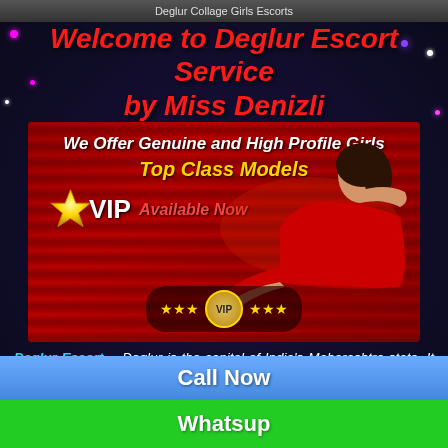Deglur Collage Girls Escorts
Welcome to Deglur Escort Service by Miss Denizli
[Figure (photo): Promotional banner showing a woman in a red dress posing, with text overlays: 'We Offer Genuine and High Profile Girls', 'Top Class Models', star VIP logo, 'Available Now', and a VIP badge with stars at the bottom]
Deglur Escort - Deglur is the capital of India's Maharashtra state. It brings out the imperial family that once decided the locale and that, in 1727, established what is presently called the Old City, or
Call Now
Whatsup